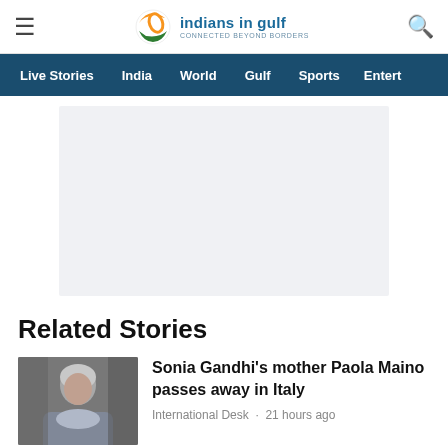indians in gulf — Connected Beyond Borders
Live Stories  India  World  Gulf  Sports  Entert
[Figure (other): Advertisement placeholder box (light grey rectangle)]
Related Stories
[Figure (photo): Thumbnail photo of an elderly woman with grey hair and a scarf]
Sonia Gandhi's mother Paola Maino passes away in Italy
International Desk · 21 hours ago